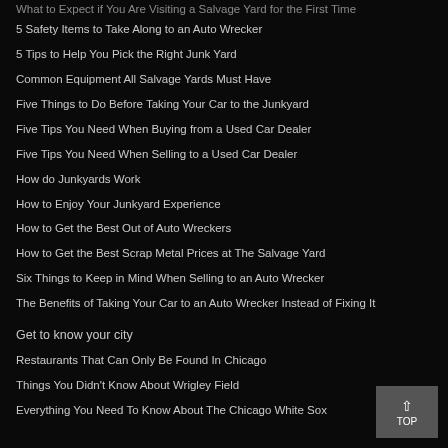5 Safety Items to Take Along to an Auto Wrecker
5 Tips to Help You Pick the Right Junk Yard
Common Equipment All Salvage Yards Must Have
Five Things to Do Before Taking Your Car to the Junkyard
Five Tips You Need When Buying from a Used Car Dealer
Five Tips You Need When Selling to a Used Car Dealer
How do Junkyards Work
How to Enjoy Your Junkyard Experience
How to Get the Best Out of Auto Wreckers
How to Get the Best Scrap Metal Prices at The Salvage Yard
Six Things to Keep in Mind When Selling to an Auto Wrecker
The Benefits of Taking Your Car to an Auto Wrecker Instead of Fixing It
Get to know your city
Restaurants That Can Only Be Found In Chicago
Things You Didn't Know About Wrigley Field
Everything You Need To Know About The Chicago White Sox